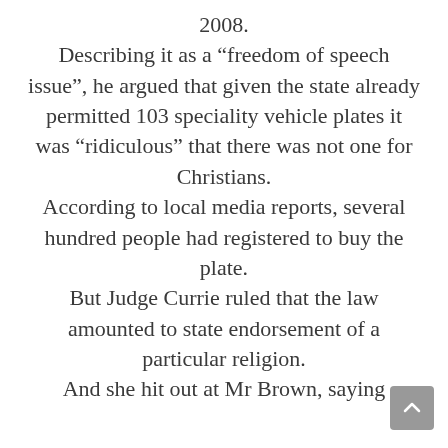2008. Describing it as a “freedom of speech issue”, he argued that given the state already permitted 103 speciality vehicle plates it was “ridiculous” that there was not one for Christians. According to local media reports, several hundred people had registered to buy the plate. But Judge Currie ruled that the law amounted to state endorsement of a particular religion. And she hit out at Mr Brown, saying...